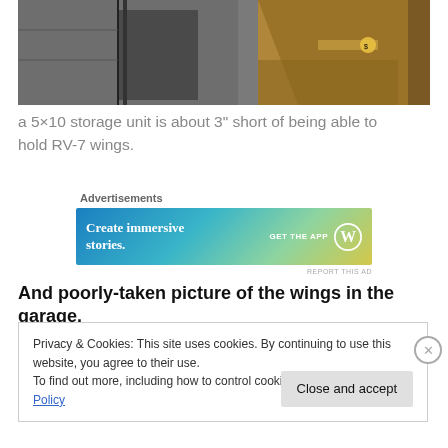[Figure (photo): Photo of cardboard boxes and metal shelving in a storage unit, with a yellow sticker label visible on one box.]
a 5×10 storage unit is about 3" short of being able to hold RV-7 wings.
Advertisements
[Figure (illustration): Advertisement banner: 'Create immersive stories. GET THE APP' with WordPress logo, gradient blue-green-yellow background.]
REPORT THIS AD
And poorly-taken picture of the wings in the garage.
Privacy & Cookies: This site uses cookies. By continuing to use this website, you agree to their use.
To find out more, including how to control cookies, see here: Cookie Policy